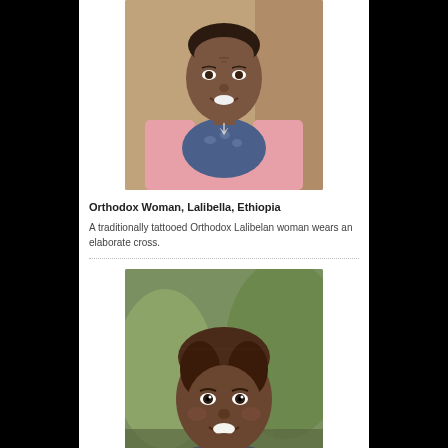[Figure (photo): Portrait of an older Orthodox woman smiling, wearing a pink jacket over a blue floral top with an elaborate silver cross necklace, Lalibella, Ethiopia]
Orthodox Woman, Lalibella, Ethiopia
A traditionally tattooed Orthodox Lalibelan woman wears an elaborate cross.
[Figure (photo): Portrait of a smiling child with short hair, Zege Peninsular, Ethiopia]
Portrait, Zege Peninsular, Ethiopia
Portrait of a child on the Zege Peninsular